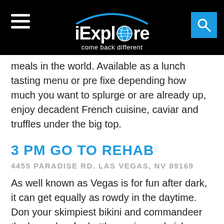iExplore — come back different
meals in the world. Available as a lunch tasting menu or pre fixe depending how much you want to splurge or are already up, enjoy decadent French cuisine, caviar and truffles under the big top.
3 PM GO TO REHAB
4455 PARADISE RD. LAS VEGAS, NV 89169
As well known as Vegas is for fun after dark, it can get equally as rowdy in the daytime. Don your skimpiest bikini and commandeer the bungalow for bottle service and sick beats in the sun. Almost every hotel on the Strip has a killer pool party, but the appropriately